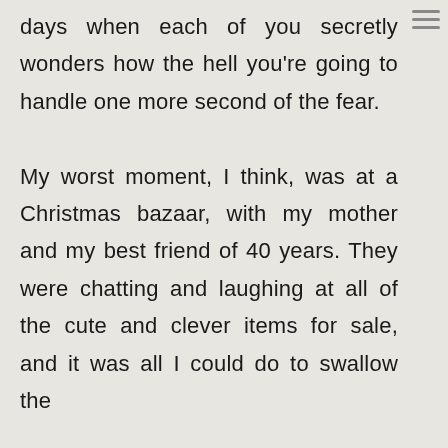days when each of you secretly wonders how the hell you're going to handle one more second of the fear. My worst moment, I think, was at a Christmas bazaar, with my mother and my best friend of 40 years. They were chatting and laughing at all of the cute and clever items for sale, and it was all I could do to swallow the